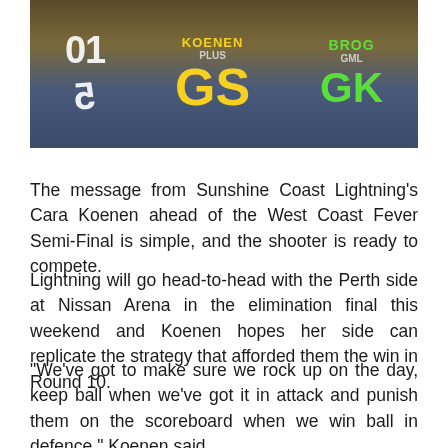[Figure (photo): Netball players on court. Left player wearing blue uniform with number visible. Center player wearing blue and gold uniform with 'KOENEN' and 'GS' on jersey. Right player wearing green uniform with 'BROCK' and 'GK' visible.]
The message from Sunshine Coast Lightning's Cara Koenen ahead of the West Coast Fever Semi-Final is simple, and the shooter is ready to compete.
Lightning will go head-to-head with the Perth side at Nissan Arena in the elimination final this weekend and Koenen hopes her side can replicate the strategy that afforded them the win in Round 10.
“We’ve got to make sure we rock up on the day, keep ball when we’ve got it in attack and punish them on the scoreboard when we win ball in defence,” Koenen said.